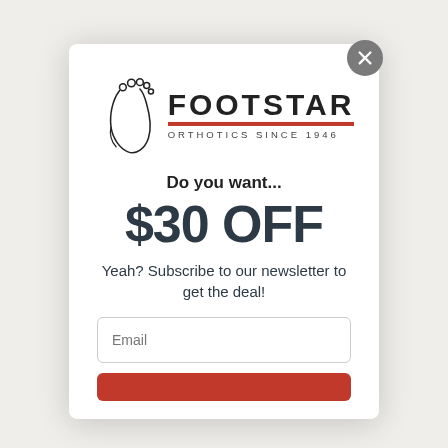[Figure (logo): Footstar Orthotics Since 1946 logo with foot illustration]
Do you want...
$30 OFF
Yeah? Subscribe to our newsletter to get the deal!
Email (input field)
Submit button (red)